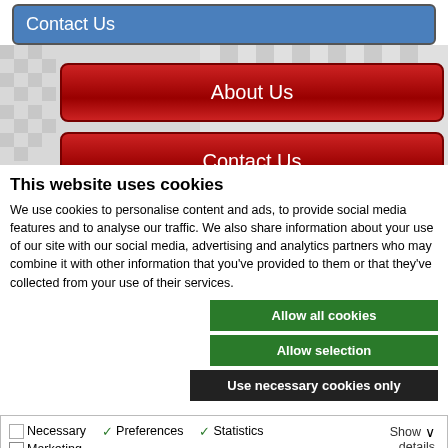[Figure (screenshot): Blue 'Contact Us' button at top of page]
[Figure (screenshot): Checkered flag banner with red 'About Us' and 'Contact Us' buttons]
This website uses cookies
We use cookies to personalise content and ads, to provide social media features and to analyse our traffic. We also share information about your use of our site with our social media, advertising and analytics partners who may combine it with other information that you've provided to them or that they've collected from your use of their services.
Allow all cookies
Allow selection
Use necessary cookies only
Necessary  Preferences  Statistics  Marketing  Show details